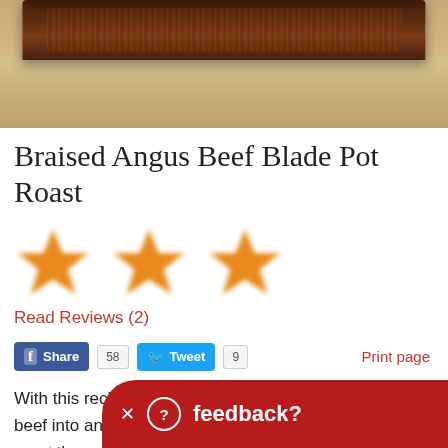[Figure (photo): Photo of braised beef blade pot roast on a wooden cutting board, viewed from above showing dark caramelized meat surface.]
Braised Angus Beef Blade Pot Roast
[Figure (infographic): Three orange star rating icons displayed in a row.]
Read Reviews (2)
Share  58  Tweet  9  Print page
With this recipe you can make an inexpensive cut of beef into an amazingly tende really easy and all you nee the work.